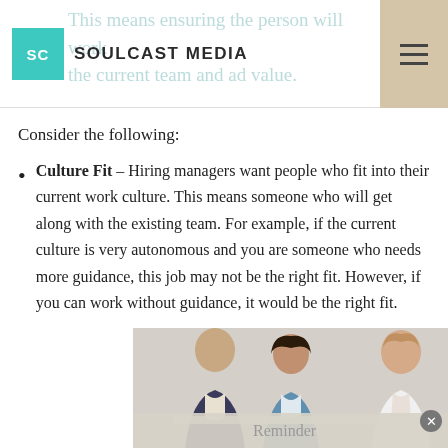SC SOULCAST MEDIA
This means ensuring the person will work the current team and ad value.
Consider the following:
Culture Fit – Hiring managers want people who fit into their current work culture. This means someone who will get along with the existing team. For example, if the current culture is very autonomous and you are someone who needs more guidance, this job may not be the right fit. However, if you can work without guidance, it would be the right fit.
[Figure (photo): Three people (two men and a woman) looking down at papers or a laptop, with a 'Reminder' notification bar overlaid at the bottom of the image.]